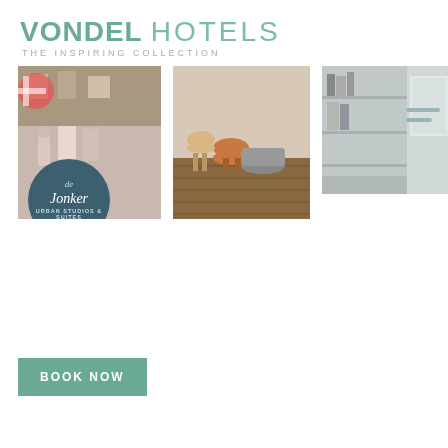VONDEL HOTELS - THE INSPIRING COLLECTION
[Figure (photo): Three hotel photos side by side: street scene with people and a circular badge overlay reading 'de Jonker Urban Studios & Suites', a modern lounge with stools on wooden floor, and a partial interior view with shelving]
BOOK NOW